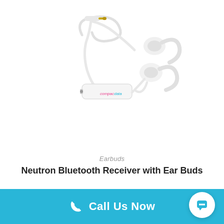[Figure (photo): Neutron Bluetooth Receiver with Ear Buds product photo — white wireless earbuds with ear hooks and a white rectangular bluetooth receiver/dongle labeled 'compacdata', plus a 3.5mm audio cable, all on white background]
Earbuds
Neutron Bluetooth Receiver with Ear Buds
$9.57 – Unit Price
Call Us Now